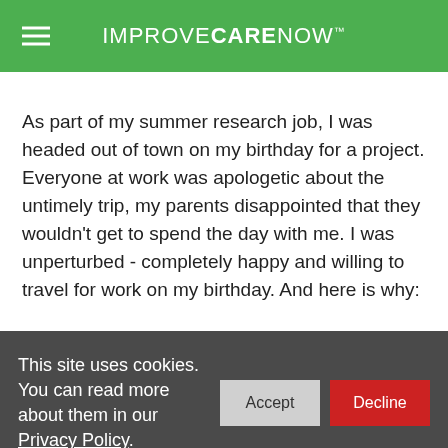IMPROVECARENOW™
As part of my summer research job, I was headed out of town on my birthday for a project. Everyone at work was apologetic about the untimely trip, my parents disappointed that they wouldn't get to spend the day with me. I was unperturbed - completely happy and willing to travel for work on my birthday. And here is why:
This site uses cookies. You can read more about them in our Privacy Policy.